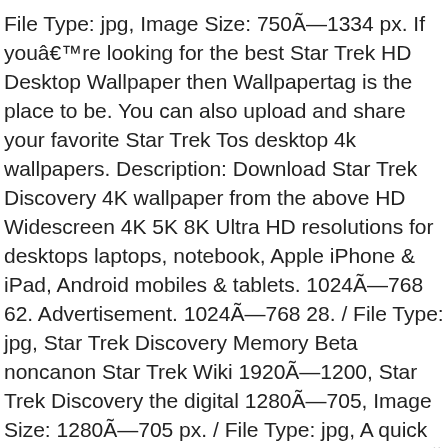File Type: jpg, Image Size: 750Ã—1334 px. If youâ€™re looking for the best Star Trek HD Desktop Wallpaper then Wallpapertag is the place to be. You can also upload and share your favorite Star Trek Tos desktop 4k wallpapers. Description: Download Star Trek Discovery 4K wallpaper from the above HD Widescreen 4K 5K 8K Ultra HD resolutions for desktops laptops, notebook, Apple iPhone & iPad, Android mobiles & tablets. 1024Ã—768 62. Advertisement. 1024Ã—768 28. / File Type: jpg, Star Trek Discovery Memory Beta noncanon Star Trek Wiki 1920Ã—1200, Star Trek Discovery the digital 1280Ã—705, Image Size: 1280Ã—705 px. / File Type: jpg, A quick celebration of those Star Trek Discovery 1869Ã—1178, Image Size: 1869Ã—1178 px. / File Type: jpg, Star Trek World Wallpapers wallgemFree Download k Ultra 1920Ã—1080,